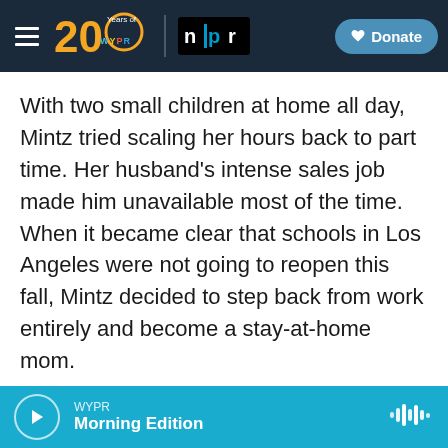WYPR 20 Years of WYPR | NPR | Donate
With two small children at home all day, Mintz tried scaling her hours back to part time. Her husband's intense sales job made him unavailable most of the time. When it became clear that schools in Los Angeles were not going to reopen this fall, Mintz decided to step back from work entirely and become a stay-at-home mom.
"I don't know when this is going to end. I don't know when we'll be able to go back to something that resembled normal. But I do worry that when I get to that point, I'll have had this gap," she says.
WYPR Morning Edition